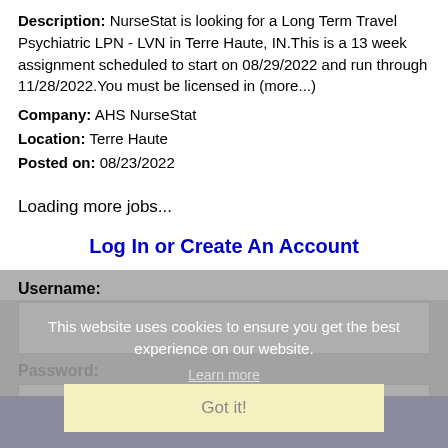Description: NurseStat is looking for a Long Term Travel Psychiatric LPN - LVN in Terre Haute, IN. This is a 13 week assignment scheduled to start on 08/29/2022 and run through 11/28/2022. You must be licensed in (more...)
Company: AHS NurseStat
Location: Terre Haute
Posted on: 08/23/2022
Loading more jobs...
Log In or Create An Account
Username:
This website uses cookies to ensure you get the best experience on our website.
Learn more
Got it!
Password:
Log In